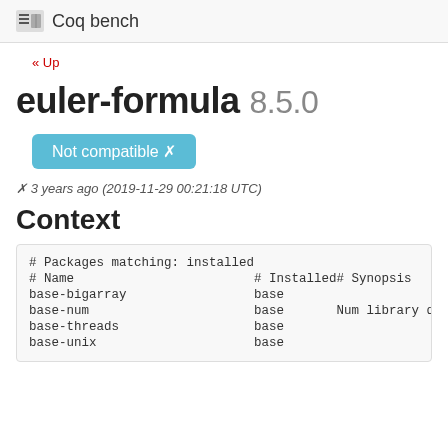Coq bench
« Up
euler-formula 8.5.0
Not compatible ✗
✗ 3 years ago (2019-11-29 00:21:18 UTC)
Context
| # Name | # Installed | # Synopsis |
| --- | --- | --- |
| base-bigarray | base |  |
| base-num | base | Num library d |
| base-threads | base |  |
| base-unix | base |  |